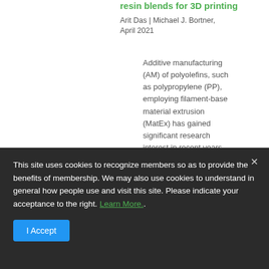resin blends for 3D printing
Arit Das | Michael J. Bortner,
April 2021
Additive manufacturing (AM) of polyolefins, such as polypropylene (PP), employing filament-based material extrusion (MatEx) has gained significant research interest in recent years.
This site uses cookies to recognize members so as to provide the benefits of membership. We may also use cookies to understand in general how people use and visit this site. Please indicate your acceptance to the right. Learn More..
I Accept